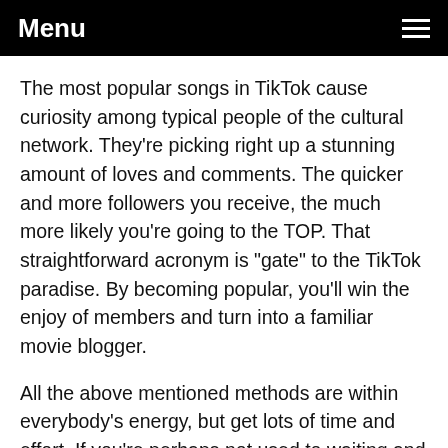Menu
The most popular songs in TikTok cause curiosity among typical people of the cultural network. They're picking right up a stunning amount of loves and comments. The quicker and more followers you receive, the much more likely you're going to the TOP. That straightforward acronym is "gate" to the TikTok paradise. By becoming popular, you'll win the enjoy of members and turn into a familiar movie blogger.
All the above mentioned methods are within everybody's energy, but get lots of time and effort. If you're perhaps not used to waiting and went to the endBusiness Management Articles, you must learn about alternative ways of promotion.